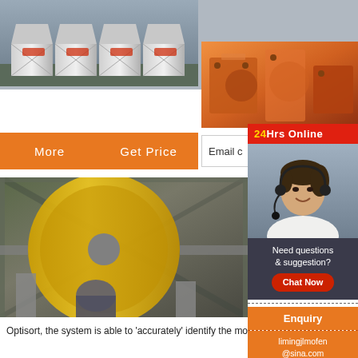[Figure (logo): Crusher Mining Equipment logo with red shopping bag icon and bold CRUSHER text]
[Figure (photo): Industrial storage silos or hoppers in a row at a mining facility]
[Figure (photo): Orange-colored heavy mining/crushing machinery parts]
More    Get Price
Email c...
[Figure (photo): 24Hrs Online chat widget with customer service representative photo, Chat Now button, Enquiry button, and limingjlmofen@sina.com email]
[Figure (photo): Ball mill industrial grinding machinery in a mining plant]
[Figure (photo): Industrial facility with containers and structures]
Optisort, the system is able to 'accurately' identify the most comm...